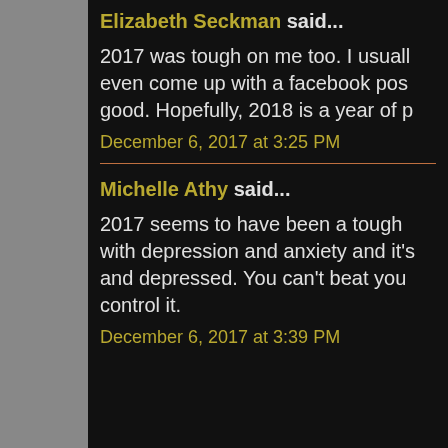Elizabeth Seckman said... 2017 was tough on me too. I usually even come up with a facebook pos good. Hopefully, 2018 is a year of p
December 6, 2017 at 3:25 PM
Michelle Athy said... 2017 seems to have been a tough with depression and anxiety and it's and depressed. You can't beat you control it.
December 6, 2017 at 3:39 PM